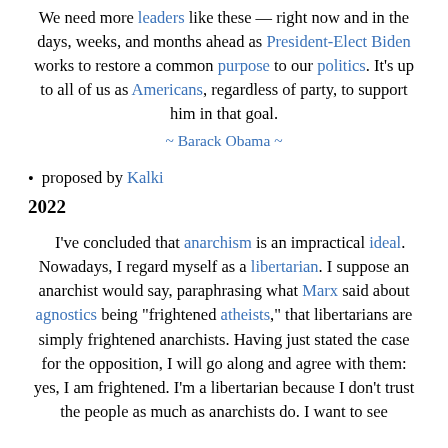We need more leaders like these — right now and in the days, weeks, and months ahead as President-Elect Biden works to restore a common purpose to our politics. It's up to all of us as Americans, regardless of party, to support him in that goal.
~ Barack Obama ~
proposed by Kalki
2022
I've concluded that anarchism is an impractical ideal. Nowadays, I regard myself as a libertarian. I suppose an anarchist would say, paraphrasing what Marx said about agnostics being "frightened atheists," that libertarians are simply frightened anarchists. Having just stated the case for the opposition, I will go along and agree with them: yes, I am frightened. I'm a libertarian because I don't trust the people as much as anarchists do. I want to see